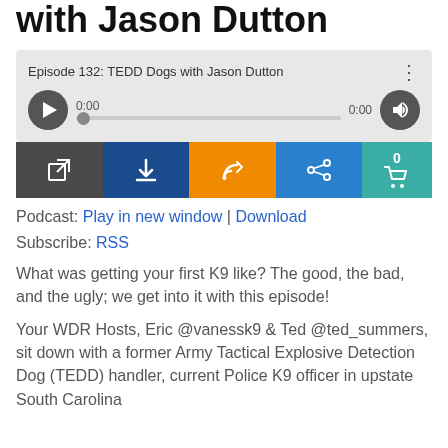with Jason Dutton
[Figure (screenshot): Audio player widget showing Episode 132: TEDD Dogs with Jason Dutton, with play button, progress bar at 0:00, volume button]
[Figure (screenshot): Action bar with dark external link button, navy download button, orange RSS button, blue share button, and teal cart button showing 0 items]
Podcast: Play in new window | Download
Subscribe: RSS
What was getting your first K9 like? The good, the bad, and the ugly; we get into it with this episode!
Your WDR Hosts, Eric @vanessk9 & Ted @ted_summers, sit down with a former Army Tactical Explosive Detection Dog (TEDD) handler, current Police K9 officer in upstate South Carolina